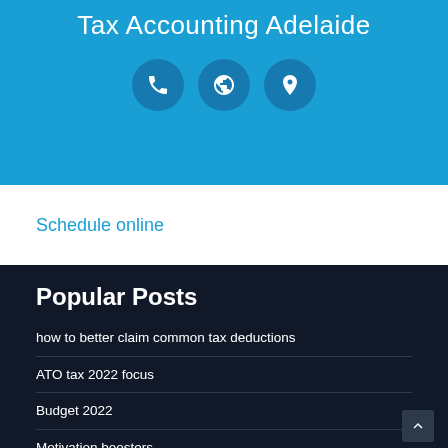Tax Accounting Adelaide
[Figure (infographic): Three circular icon buttons: phone, globe/website, and location pin]
Schedule online
Popular Posts
how to better claim common tax deductions
ATO tax 2022 focus
Budget 2022
Motivation boosters